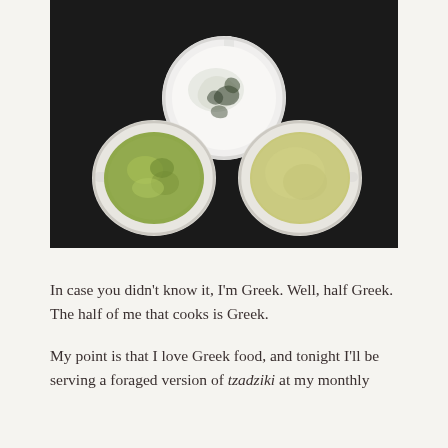[Figure (photo): Overhead photograph on dark background of three white mugs/bowls arranged in a triangle formation. The top cup contains a white creamy dip with dark green herb streaks (tzadziki). The bottom-left cup contains a chunky green mixture. The bottom-right cup contains a smooth pale green/yellow liquid.]
In case you didn't know it, I'm Greek. Well, half Greek. The half of me that cooks is Greek.
My point is that I love Greek food, and tonight I'll be serving a foraged version of tzadziki at my monthly